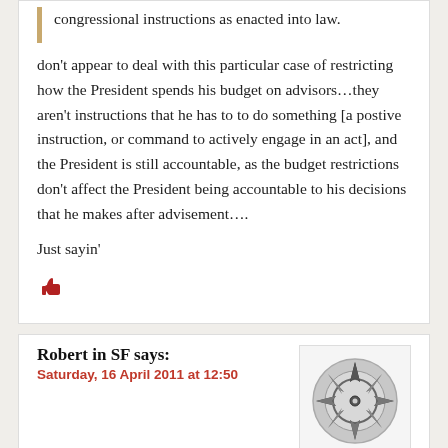congressional instructions as enacted into law.
don't appear to deal with this particular case of restricting how the President spends his budget on advisors…they aren't instructions that he has to to do something [a postive instruction, or command to actively engage in an act], and the President is still accountable, as the budget restrictions don't affect the President being accountable to his decisions that he makes after advisement….
Just sayin'
[Figure (illustration): Red thumbs-up icon]
Robert in SF says:
Saturday, 16 April 2011 at 12:50
[Figure (illustration): Compass rose icon in grey circle]
And I do think that he could have certainly made a case for how Congress is overstepping their powers by cutting the budget… but that couldn't be politically...